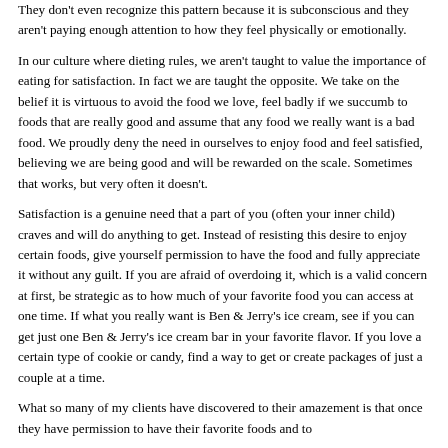They don't even recognize this pattern because it is subconscious and they aren't paying enough attention to how they feel physically or emotionally.
In our culture where dieting rules, we aren't taught to value the importance of eating for satisfaction. In fact we are taught the opposite. We take on the belief it is virtuous to avoid the food we love, feel badly if we succumb to foods that are really good and assume that any food we really want is a bad food. We proudly deny the need in ourselves to enjoy food and feel satisfied, believing we are being good and will be rewarded on the scale. Sometimes that works, but very often it doesn't.
Satisfaction is a genuine need that a part of you (often your inner child) craves and will do anything to get. Instead of resisting this desire to enjoy certain foods, give yourself permission to have the food and fully appreciate it without any guilt. If you are afraid of overdoing it, which is a valid concern at first, be strategic as to how much of your favorite food you can access at one time. If what you really want is Ben & Jerry's ice cream, see if you can get just one Ben & Jerry's ice cream bar in your favorite flavor. If you love a certain type of cookie or candy, find a way to get or create packages of just a couple at a time.
What so many of my clients have discovered to their amazement is that once they have permission to have their favorite foods and to